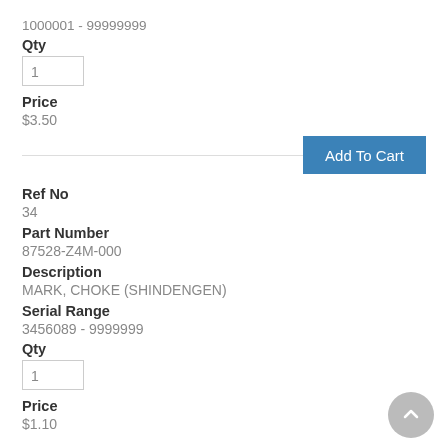1000001 - 99999999
Qty
1
Price
$3.50
Add To Cart
Ref No
34
Part Number
87528-Z4M-000
Description
MARK, CHOKE (SHINDENGEN)
Serial Range
3456089 - 9999999
Qty
1
Price
$1.10